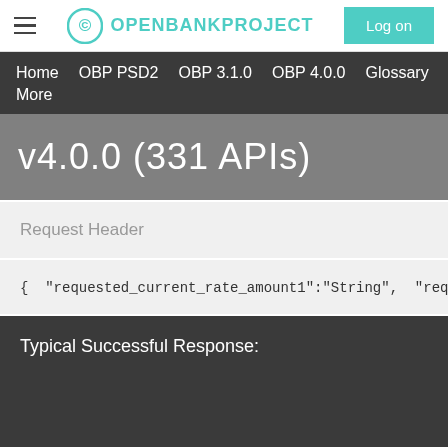OPENBANKPROJECT — Log on
Home  OBP PSD2  OBP 3.1.0  OBP 4.0.0  Glossary  More
v4.0.0 (331 APIs)
Request Header
{ "requested_current_rate_amount1":"String", "requested_c
Typical Successful Response: